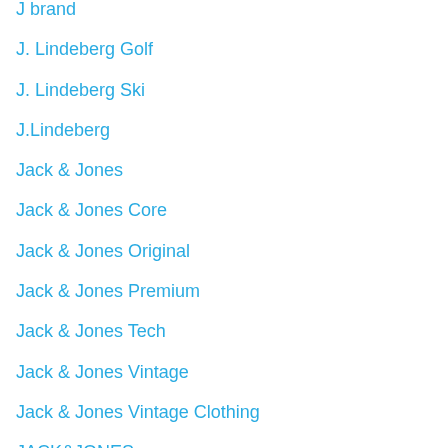J brand
J. Lindeberg Golf
J. Lindeberg Ski
J.Lindeberg
Jack & Jones
Jack & Jones Core
Jack & Jones Original
Jack & Jones Premium
Jack & Jones Tech
Jack & Jones Vintage
Jack & Jones Vintage Clothing
JACK&JONES